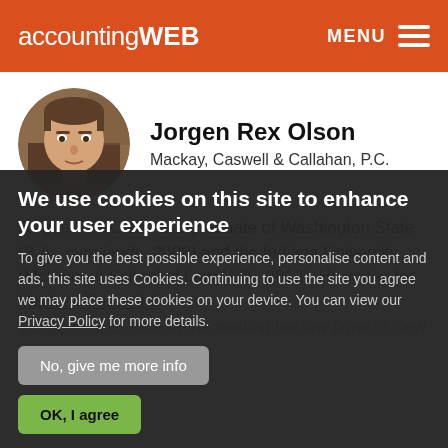accountingWEB  MENU
[Figure (photo): Circular profile photo of Jorgen Rex Olson, a young man with short hair]
Jorgen Rex Olson
Mackay, Caswell & Callahan, P.C.
Jorgen Rex Olson is a graduate of Washington State (B.A., cum laude, 2008) and the Indiana University (McKinney) School of Law (J.D., 2012). He writes for Mackay, Caswell & Callahan, P.C., one of the leading tax law firms in New York...
We use cookies on this site to enhance your user experience
To give you the best possible experience, personalise content and ads, this site uses Cookies. Continuing to use the site you agree we may place these cookies on your device. You can view our Privacy Policy for more details.
No, give me more info
OK, I agree